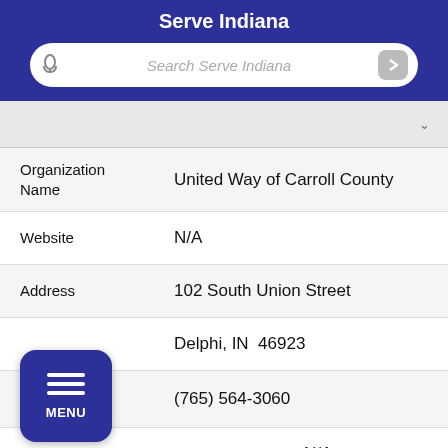Serve Indiana
| Field | Value |
| --- | --- |
| Organization Name | United Way of Carroll County |
| Website | N/A |
| Address | 102 South Union Street
Delphi, IN  46923
(765) 564-3060 |
|  | N/A |
| Email | N/A |